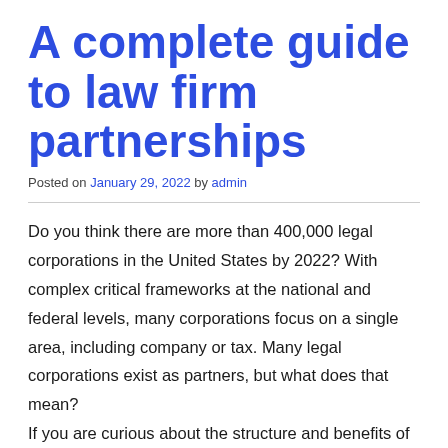A complete guide to law firm partnerships
Posted on January 29, 2022 by admin
Do you think there are more than 400,000 legal corporations in the United States by 2022? With complex critical frameworks at the national and federal levels, many corporations focus on a single area, including company or tax. Many legal corporations exist as partners, but what does that mean?
If you are curious about the structure and benefits of the Regulation Organization Partnership, read